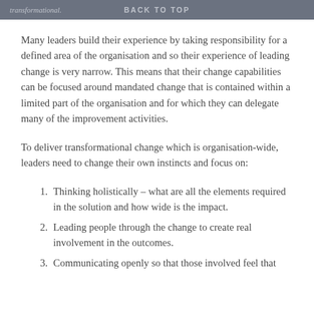transformational. BACK TO TOP
Many leaders build their experience by taking responsibility for a defined area of the organisation and so their experience of leading change is very narrow. This means that their change capabilities can be focused around mandated change that is contained within a limited part of the organisation and for which they can delegate many of the improvement activities.
To deliver transformational change which is organisation-wide, leaders need to change their own instincts and focus on:
Thinking holistically – what are all the elements required in the solution and how wide is the impact.
Leading people through the change to create real involvement in the outcomes.
Communicating openly so that those involved feel that